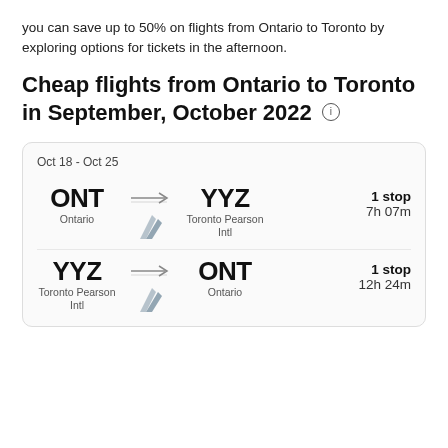you can save up to 50% on flights from Ontario to Toronto by exploring options for tickets in the afternoon.
Cheap flights from Ontario to Toronto in September, October 2022
[Figure (infographic): Flight card for Oct 18 - Oct 25 showing two flight legs: ONT (Ontario) to YYZ (Toronto Pearson Intl) with 1 stop, 7h 07m; and YYZ (Toronto Pearson Intl) to ONT (Ontario) with 1 stop, 12h 24m, with airline logo.]